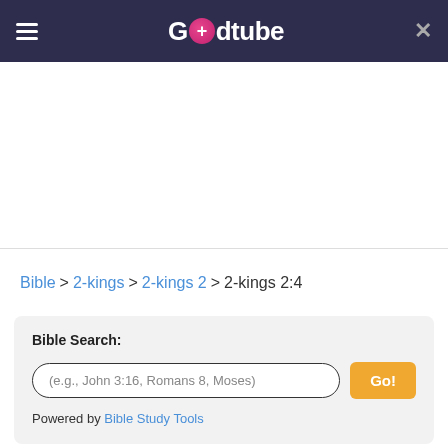Godtube
Bible > 2-kings > 2-kings 2 > 2-kings 2:4
Bible Search:
(e.g., John 3:16, Romans 8, Moses)
Go!
Powered by Bible Study Tools